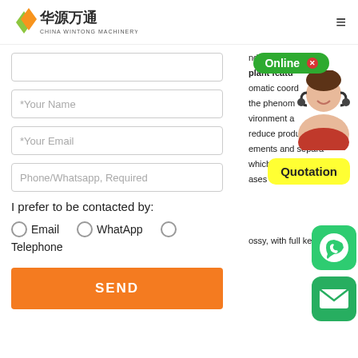[Figure (logo): China Wintong Machinery logo with green/yellow leaf icon and Chinese characters 华源万通]
[Figure (other): Hamburger menu icon (three horizontal lines)]
(empty input field)
*Your Name
*Your Email
Phone/Whatsapp, Required
I prefer to be contacted by:
Email   WhatApp   Telephone
SEND
nd products w...plant featu...omatic coord...the phenom...vironment a...reduce production cost...ements and separa...which provides hig...ases its social benefits...ossy, with full kernels and
[Figure (other): Online chat badge with green background]
[Figure (photo): Customer service agent with headset]
[Figure (other): Yellow Quotation badge]
[Figure (other): WhatsApp green icon]
[Figure (other): Email envelope green icon]